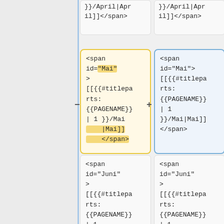}}/April|April]]</span>
}}/April|April]]</span>
<span id="Mai">
[[{{#titleparts:{{PAGENAME}}| 1 }}/Mai|Mai]]
</span>
<span id="Mai">[[{{#titleparts:{{PAGENAME}}| 1 }}/Mai|Mai]]</span>
<span id="Juni"
>
[[{{#titleparts:{{PAGENAME}}| 1 }}/Juni|Juni]]</span>
<span id="Juni"
>
[[{{#titleparts:{{PAGENAME}}| 1 }}/Juni|Juni]]</span>